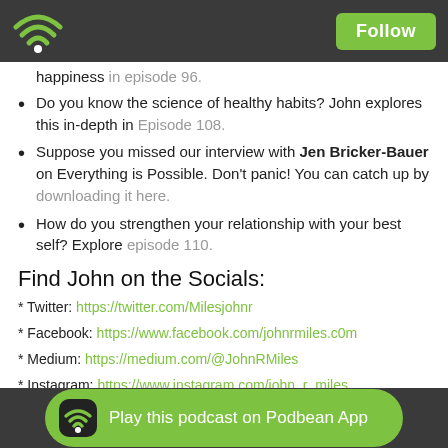Follow
happiness in episode 96.
Do you know the science of healthy habits? John explores this in-depth in Episode 108.
Suppose you missed our interview with Jen Bricker-Bauer on Everything is Possible. Don't panic! You can catch up by downloading it here.
How do you strengthen your relationship with your best self? Explore episode 110.
Find John on the Socials:
* Twitter: https://twitter.com/Milesjohnr
* Facebook: https://www.facebook.com/johnrmiles.c0m
* Medium: https://medium.com/@JohnRMiles
* Instagram: https://www.instagram.com/john_r_miles
* LinkedIn: https://www.linkedin.com/in/milesjohn/
* Blog: https://passionstruck.com/blog/
* Instagram podcast/
Play this podcast on Podbean App